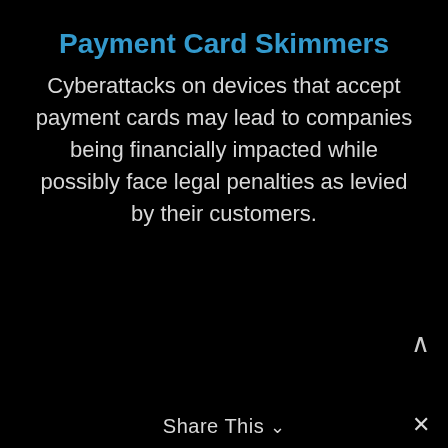Payment Card Skimmers
Cyberattacks on devices that accept payment cards may lead to companies being financially impacted while possibly face legal penalties as levied by their customers.
Share This ∨  ✕